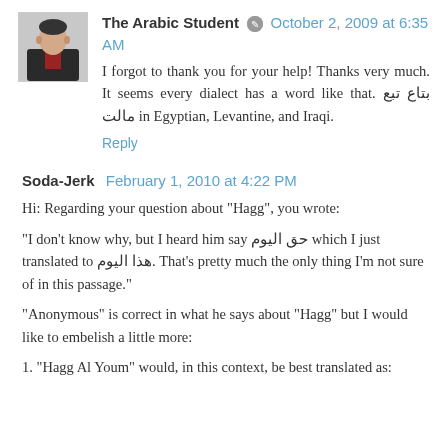[Figure (photo): Avatar/profile photo of The Arabic Student commenter, showing a man in a dark jacket with a red shirt]
The Arabic Student  October 2, 2009 at 6:35 AM
I forgot to thank you for your help! Thanks very much. It seems every dialect has a word like that. بتاع تبع مالت in Egyptian, Levantine, and Iraqi.
Reply
Soda-Jerk  February 1, 2010 at 4:22 PM
Hi: Regarding your question about "Hagg", you wrote:
"I don't know why, but I heard him say حق اليوم which I just translated to هذا اليوم. That's pretty much the only thing I'm not sure of in this passage."
"Anonymous" is correct in what he says about "Hagg" but I would like to embelish a little more:
1. "Hagg Al Youm" would, in this context, be best translated as: